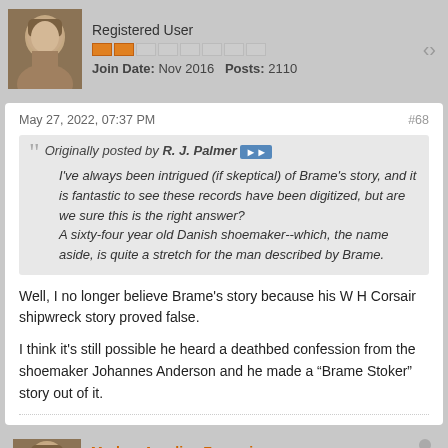Registered User
Join Date: Nov 2016   Posts: 2110
May 27, 2022, 07:37 PM
#68
Originally posted by R. J. Palmer
I've always been intrigued (if skeptical) of Brame's story, and it is fantastic to see these records have been digitized, but are we sure this is the right answer?
A sixty-four year old Danish shoemaker--which, the name aside, is quite a stretch for the man described by Brame.
Well, I no longer believe Brame’s story because his W H Corsair shipwreck story proved false.
I think it’s still possible he heard a deathbed confession from the shoemaker Johannes Anderson and he made a “Brame Stoker” story out of it.
Markus Aurelius Franzoi
Registered User